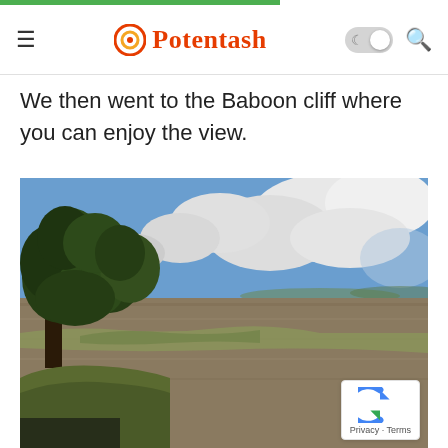Potentash
We then went to the Baboon cliff where you can enjoy the view.
[Figure (photo): View from Baboon Cliff showing a large tree on the left, a wide expanse of water/lake in the middle distance, shoreline vegetation, and a partly cloudy sky.]